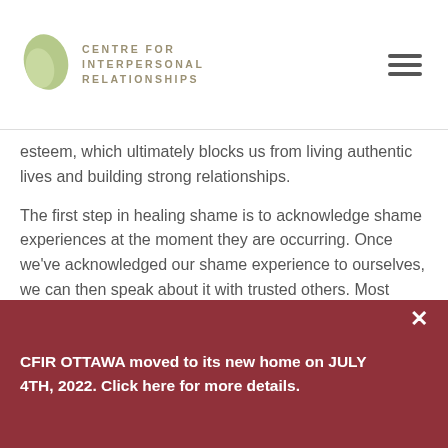CENTRE FOR INTERPERSONAL RELATIONSHIPS
esteem, which ultimately blocks us from living authentic lives and building strong relationships.

The first step in healing shame is to acknowledge shame experiences at the moment they are occurring. Once we've acknowledged our shame experience to ourselves, we can then speak about it with trusted others. Most importantly, we must be kind and build compassion toward ourselves in these moments of pain and struggle
CFIR OTTAWA moved to its new home on JULY 4TH, 2022. Click here for more details.